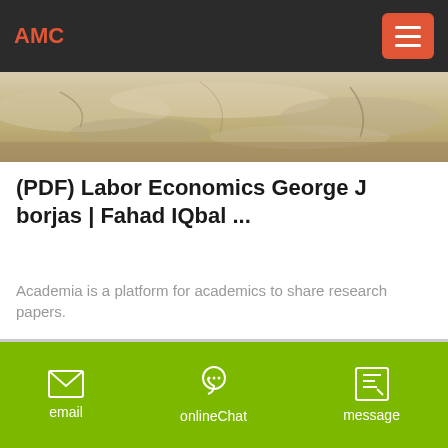AMC
[Figure (photo): Sandy/rocky terrain landscape photo strip]
(PDF) Labor Economics George J borjas | Fahad IQbal ...
Academia is a platform for academics to share research papers.
email  onlineChat  message